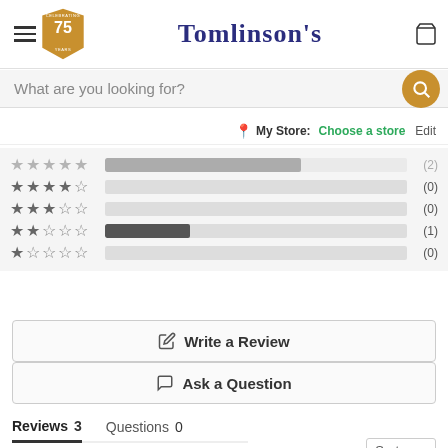[Figure (logo): Tomlinson's logo with 75 years celebrating badge and hamburger menu and cart icon]
What are you looking for?
My Store: Choose a store Edit
[Figure (bar-chart): Star rating breakdown bars: 4-star (2), 3-star (0), 2-star (0), 1-star with partial bar (1), 0-star (0)]
✏ Write a Review
💬 Ask a Question
Reviews 3    Questions 0
Sort